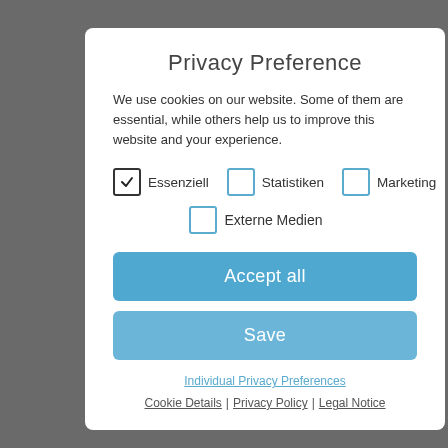Privacy Preference
We use cookies on our website. Some of them are essential, while others help us to improve this website and your experience.
Essenziell (checked), Statistiken (unchecked), Marketing (unchecked)
Externe Medien (unchecked)
Accept all
Save
Individual Privacy Preferences
Cookie Details | Privacy Policy | Legal Notice